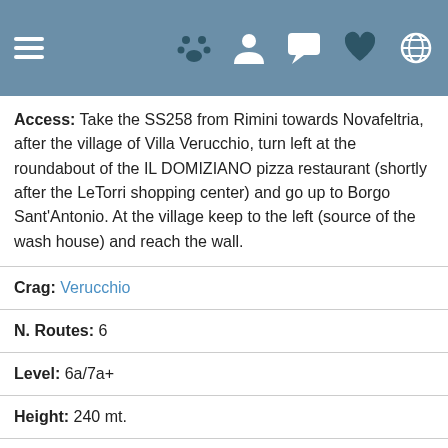Navigation bar with hamburger menu and icons: paw, person, chat, heart, globe
Access: Take the SS258 from Rimini towards Novafeltria, after the village of Villa Verucchio, turn left at the roundabout of the IL DOMIZIANO pizza restaurant (shortly after the LeTorri shopping center) and go up to Borgo Sant'Antonio. At the village keep to the left (source of the wash house) and reach the wall.
Crag: Verucchio
N. Routes: 6
Level: 6a/7a+
Height: 240 mt.
Beauty:
Rating: 4/5 (1 Ratings)